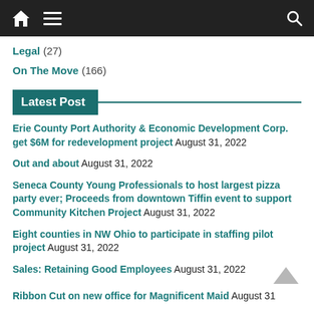Navigation bar with home, menu, and search icons
Legal (27)
On The Move (166)
Latest Post
Erie County Port Authority & Economic Development Corp. get $6M for redevelopment project August 31, 2022
Out and about August 31, 2022
Seneca County Young Professionals to host largest pizza party ever; Proceeds from downtown Tiffin event to support Community Kitchen Project August 31, 2022
Eight counties in NW Ohio to participate in staffing pilot project August 31, 2022
Sales: Retaining Good Employees August 31, 2022
Ribbon Cut on new office for Magnificent Maid August 31